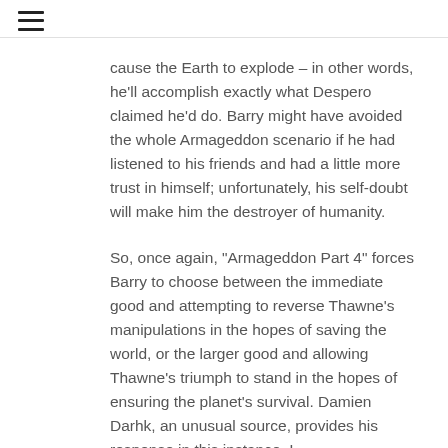≡
cause the Earth to explode – in other words, he'll accomplish exactly what Despero claimed he'd do. Barry might have avoided the whole Armageddon scenario if he had listened to his friends and had a little more trust in himself; unfortunately, his self-doubt will make him the destroyer of humanity.
So, once again, "Armageddon Part 4" forces Barry to choose between the immediate good and attempting to reverse Thawne's manipulations in the hopes of saving the world, or the larger good and allowing Thawne's triumph to stand in the hopes of ensuring the planet's survival. Damien Darhk, an unusual source, provides his response in this instance. I